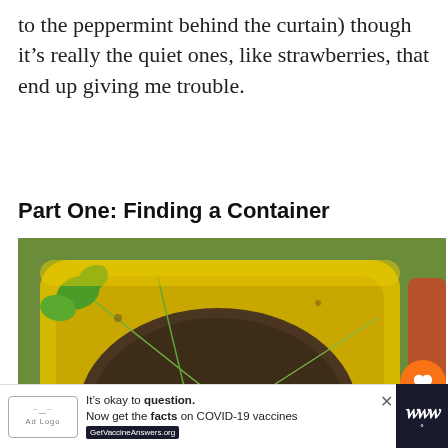to the peppermint behind the curtain) though it's really the quiet ones, like strawberries, that end up giving me trouble.
Part One: Finding a Container
[Figure (photo): Overhead view of a yellow container filled with soil and small plants, with a black seed tray visible inside it, green plant stems crossing the frame.]
WHAT'S NEXT → Mushroom Growing at...
It's okay to question. Now get the facts on COVID-19 vaccines GetVaccineAnswers.org